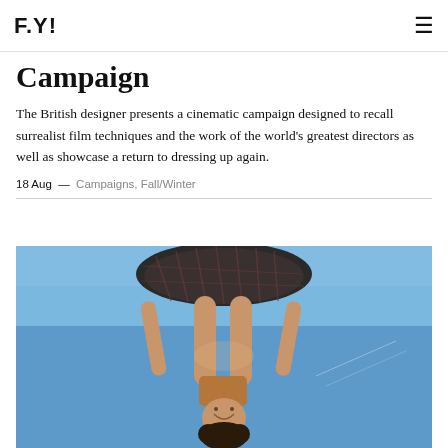F.Y!
Campaign
The British designer presents a cinematic campaign designed to recall surrealist film techniques and the work of the world’s greatest directors as well as showcase a return to dressing up again.
18 Aug — Campaigns, Fall/Winter
[Figure (photo): A figure photographed from below against a blue sky, appearing upside down, wearing a dark plaid skirt/outfit, with arms raised, curly hair visible at the bottom of the frame.]